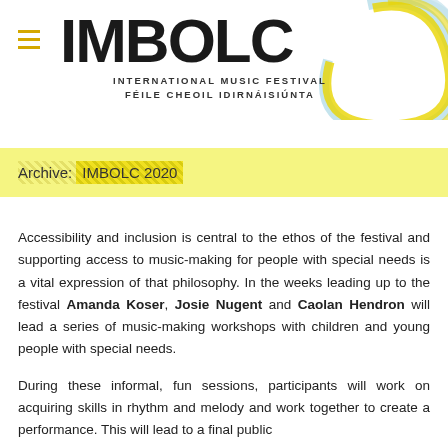IMBOLC INTERNATIONAL MUSIC FESTIVAL FÉILE CHEOIL IDIRNÁISIÚNTA
Archive: IMBOLC 2020
Accessibility and inclusion is central to the ethos of the festival and supporting access to music-making for people with special needs is a vital expression of that philosophy. In the weeks leading up to the festival Amanda Koser, Josie Nugent and Caolan Hendron will lead a series of music-making workshops with children and young people with special needs.
During these informal, fun sessions, participants will work on acquiring skills in rhythm and melody and work together to create a performance. This will lead to a final public